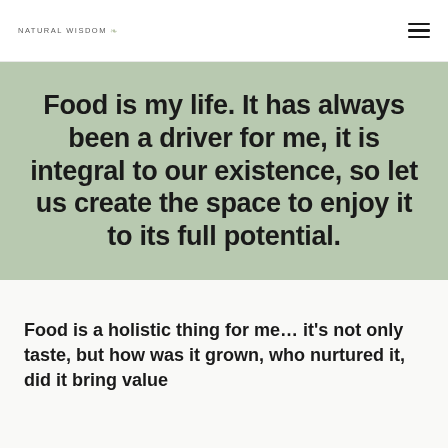NATURAL WISDOM
Food is my life. It has always been a driver for me, it is integral to our existence, so let us create the space to enjoy it to its full potential.
Food is a holistic thing for me… it’s not only taste, but how was it grown, who nurtured it, did it bring value